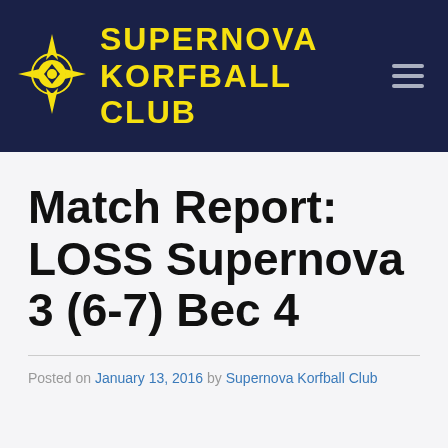SuperNova Korfball Club
Match Report: LOSS Supernova 3 (6-7) Bec 4
Posted on January 13, 2016 by Supernova Korfball Club